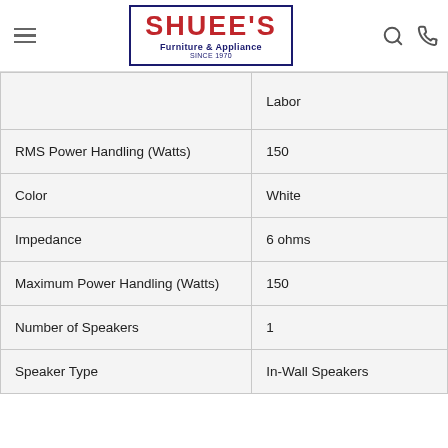[Figure (logo): Shuee's Furniture & Appliance logo, Since 1970, red brand name with navy blue border and subtitle]
| Specification | Value |
| --- | --- |
| (Warranty) | Labor |
| RMS Power Handling (Watts) | 150 |
| Color | White |
| Impedance | 6 ohms |
| Maximum Power Handling (Watts) | 150 |
| Number of Speakers | 1 |
| Speaker Type | In-Wall Speakers |